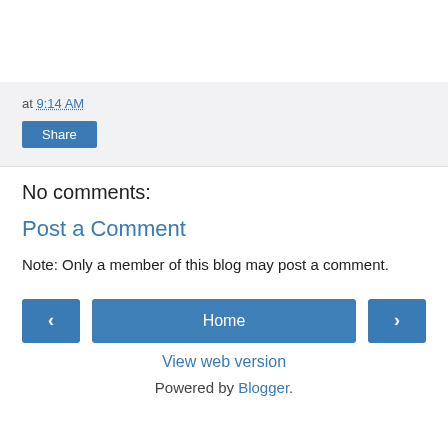at 9:14 AM
Share
No comments:
Post a Comment
Note: Only a member of this blog may post a comment.
< Home >
View web version
Powered by Blogger.